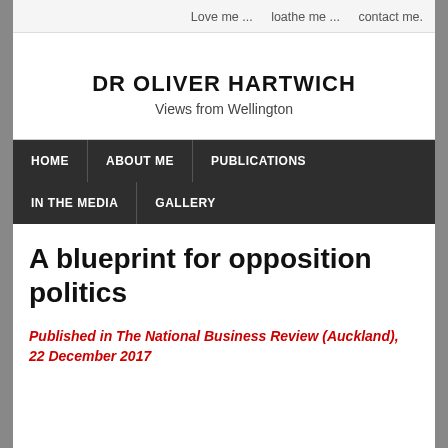Love me ...   loathe me ...   contact me.
DR OLIVER HARTWICH
Views from Wellington
HOME   ABOUT ME   PUBLICATIONS   IN THE MEDIA   GALLERY
A blueprint for opposition politics
Published in The National Business Review (Auckland), 22 December 2017